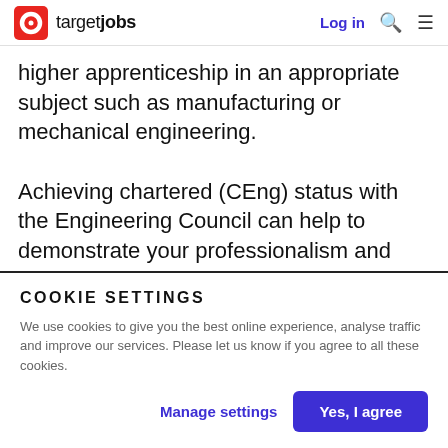targetjobs | Log in
higher apprenticeship in an appropriate subject such as manufacturing or mechanical engineering.

Achieving chartered (CEng) status with the Engineering Council can help to demonstrate your professionalism and commitment to your field. To become chartered, you will need an accredited bachelors degree in engineering or technology,
COOKIE SETTINGS
We use cookies to give you the best online experience, analyse traffic and improve our services. Please let us know if you agree to all these cookies.
Manage settings   Yes, I agree